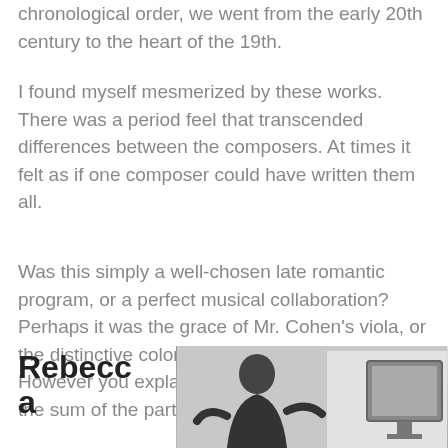chronological order, we went from the early 20th century to the heart of the 19th.
I found myself mesmerized by these works. There was a period feel that transcended differences between the composers. At times it felt as if one composer could have written them all.
Was this simply a well-chosen late romantic program, or a perfect musical collaboration? Perhaps it was the grace of Mr. Cohen's viola, or the distinctive color of the accompaniment? However you explain it, the whole felt larger than the sum of the parts.
Rebecca
[Figure (photo): A person photographed from behind or side, appearing to be at a desk or instrument, with a light background and a dark rectangular object (monitor or music stand) visible on the right.]